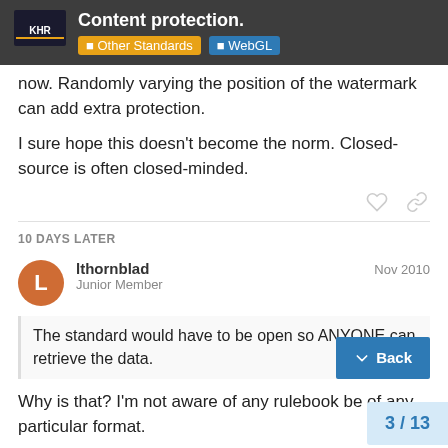Content protection. | Other Standards | WebGL
now. Randomly varying the position of the watermark can add extra protection.

I sure hope this doesn't become the norm. Closed-source is often closed-minded.
10 DAYS LATER
lthornblad | Junior Member | Nov 2010
The standard would have to be open so ANYONE can retrieve the data.
Why is that? I'm not aware of any rulebook be of any particular format.
3 / 13